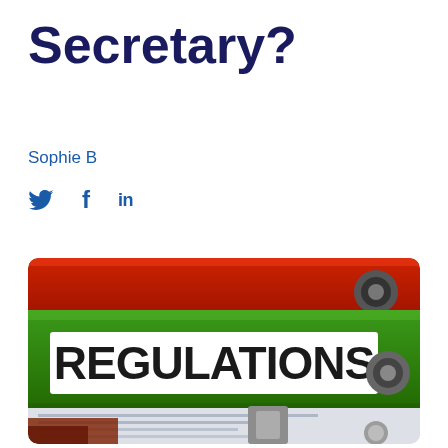Secretary?
Sophie B
[Figure (illustration): Social media share icons: Twitter bird, Facebook f, LinkedIn in]
[Figure (photo): A green ring binder labeled REGULATIONS in bold dark text on a white label, stacked on top of a red binder, with papers visible underneath, on an office desk]